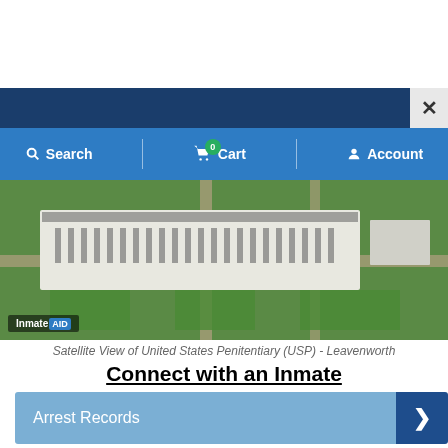[Figure (screenshot): Top navigation bar with dark blue bar, X close button, and blue nav bar with Search, Cart (0), and Account options]
[Figure (photo): Aerial/satellite view of United States Penitentiary (USP) - Leavenworth, showing large white building and surrounding grounds]
Satellite View of United States Penitentiary (USP) - Leavenworth
Connect with an Inmate
Arrest Records
Discount Calls
Send Letters & Photos